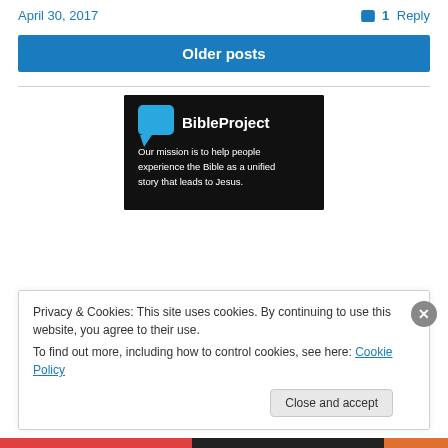April 30, 2017
1 Reply
Older posts
[Figure (logo): BibleProject logo on black background with blue speech bubble icon and text: Our mission is to help people experience the Bible as a unified story that leads to Jesus.]
Privacy & Cookies: This site uses cookies. By continuing to use this website, you agree to their use.
To find out more, including how to control cookies, see here: Cookie Policy
Close and accept